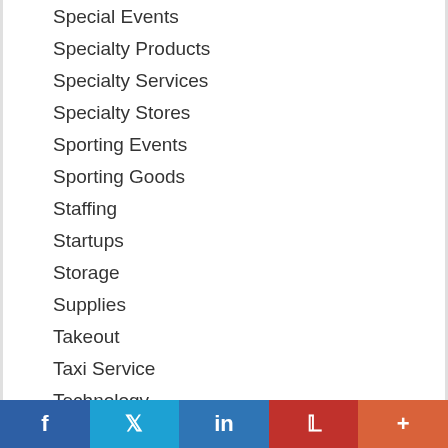Special Events
Specialty Products
Specialty Services
Specialty Stores
Sporting Events
Sporting Goods
Staffing
Startups
Storage
Supplies
Takeout
Taxi Service
Technology
Technology Products
f  Twitter  in  P  +